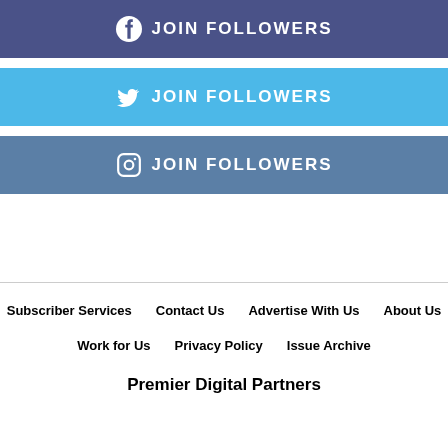[Figure (infographic): Facebook JOIN FOLLOWERS button - dark blue/indigo banner with Facebook logo icon and text]
[Figure (infographic): Twitter JOIN FOLLOWERS button - light blue banner with Twitter bird logo icon and text]
[Figure (infographic): Instagram JOIN FOLLOWERS button - steel blue banner with Instagram logo icon and text]
Subscriber Services   Contact Us   Advertise With Us   About Us   Work for Us   Privacy Policy   Issue Archive
Premier Digital Partners